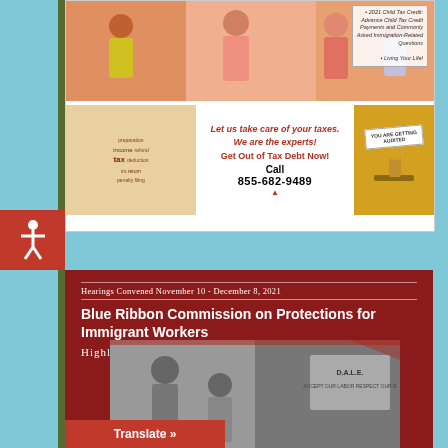[Figure (photo): Photo strip of people with text overlay about 2021 Child Tax Credit and immigration FAQs, with decorative banner text 'Living Your Life!']
[Figure (photo): Tax advertisement banner: word cloud with 'tax' prominently, text 'Let us take care of your taxes. We are the experts! Get Out of Tax Debt Now! Call 855-682-9489', with image of gavel and form saying 'YOU ARE GETTING AUDITED']
VISIT OUR WEBSITE WWW.THEIMMIGRANTSJOURNAL.COM FOR MORE IMMIGRATION NEWS & UPDATES
Hearings Convened November 10 - December 8, 2021
Blue Ribbon Commission on Protections for Immigrant Workers
Highlights and Recommendations
[Figure (photo): Black and white photo of people at a protest or hearing, one person holding a sign referencing labor rights]